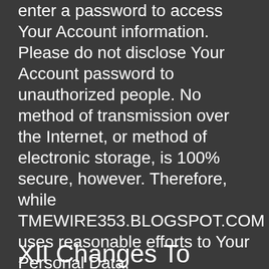enter a password to access Your Account information. Please do not disclose Your Account password to unauthorized people. No method of transmission over the Internet, or method of electronic storage, is 100% secure, however. Therefore, while TMEWIRE353.BLOGSPOT.COM uses reasonable efforts to Your Personal Data, TMEWIRE353.BLOGSPOT.COM cannot guarantee its absolute security.
XII Changes To